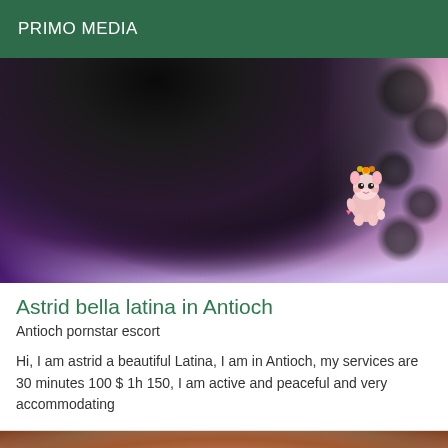PRIMO MEDIA
[Figure (photo): Close-up photo of a person with dark hair lying down, colorful patterned fabric visible, with a small cute cartoon sticker overlay in the lower right area]
Astrid bella latina in Antioch
Antioch pornstar escort
Hi, I am astrid a beautiful Latina, I am in Antioch, my services are 30 minutes 100 $ 1h 150, I am active and peaceful and very accommodating
[Figure (photo): Partial photo of a person's face, cropped at bottom of page]